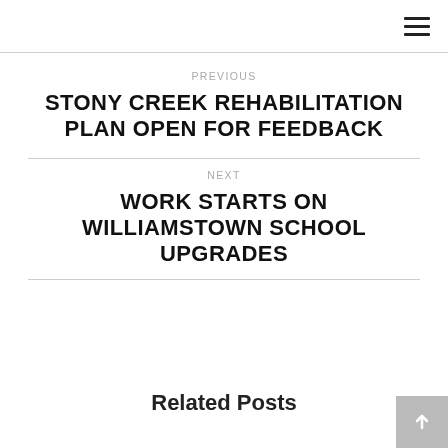≡
PREVIOUS
STONY CREEK REHABILITATION PLAN OPEN FOR FEEDBACK
NEXT
WORK STARTS ON WILLIAMSTOWN SCHOOL UPGRADES
Related Posts